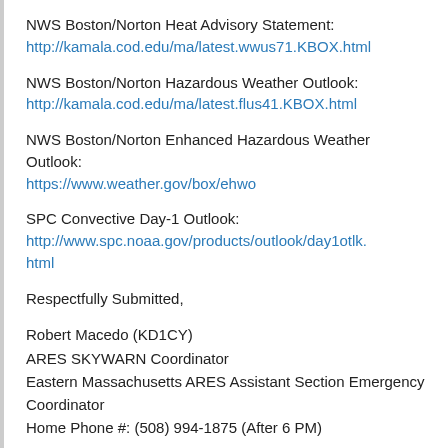NWS Boston/Norton Heat Advisory Statement:
http://kamala.cod.edu/ma/latest.wwus71.KBOX.html
NWS Boston/Norton Hazardous Weather Outlook:
http://kamala.cod.edu/ma/latest.flus41.KBOX.html
NWS Boston/Norton Enhanced Hazardous Weather Outlook:
https://www.weather.gov/box/ehwo
SPC Convective Day-1 Outlook:
http://www.spc.noaa.gov/products/outlook/day1otlk.html
Respectfully Submitted,
Robert Macedo (KD1CY)
ARES SKYWARN Coordinator
Eastern Massachusetts ARES Assistant Section Emergency Coordinator
Home Phone #: (508) 994-1875 (After 6 PM)